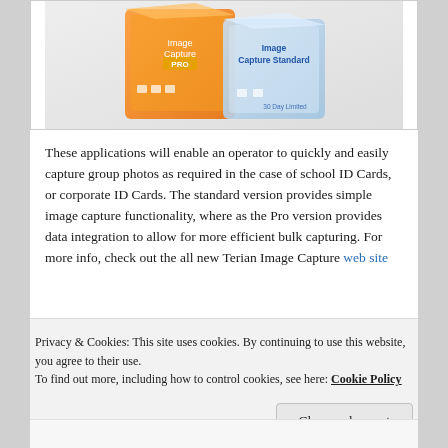[Figure (photo): Product box images showing 'Image Capture PRO' (orange box) and 'Image Capture Standard' (blue/light box) software products.]
These applications will enable an operator to quickly and easily capture group photos as required in the case of school ID Cards, or corporate ID Cards. The standard version provides simple image capture functionality, where as the Pro version provides data integration to allow for more efficient bulk capturing. For more info, check out the all new Terian Image Capture web site
Privacy & Cookies: This site uses cookies. By continuing to use this website, you agree to their use.
To find out more, including how to control cookies, see here: Cookie Policy
Close and accept